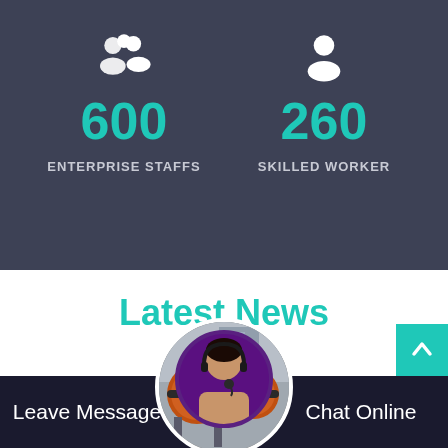[Figure (infographic): Dark background section with two stats: 600 Enterprise Staffs and 260 Skilled Worker, each with a white icon above the number]
Latest News
[Figure (photo): Circular image showing industrial machinery (orange ball mill) with a female customer service representative wearing a headset below it]
Leave Message
Chat Online